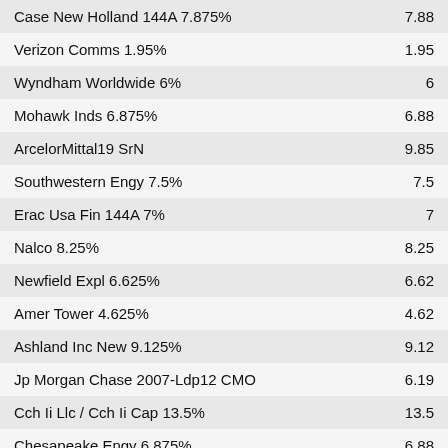| Name | Value |
| --- | --- |
| Case New Holland 144A 7.875% | 7.88 |
| Verizon Comms 1.95% | 1.95 |
| Wyndham Worldwide 6% | 6 |
| Mohawk Inds 6.875% | 6.88 |
| ArcelorMittal19 SrN | 9.85 |
| Southwestern Engy 7.5% | 7.5 |
| Erac Usa Fin 144A 7% | 7 |
| Nalco 8.25% | 8.25 |
| Newfield Expl 6.625% | 6.62 |
| Amer Tower 4.625% | 4.62 |
| Ashland Inc New 9.125% | 9.12 |
| Jp Morgan Chase 2007-Ldp12 CMO | 6.19 |
| Cch Ii Llc / Cch Ii Cap 13.5% | 13.5 |
| Chesapeake Engy 6.875% | 6.88 |